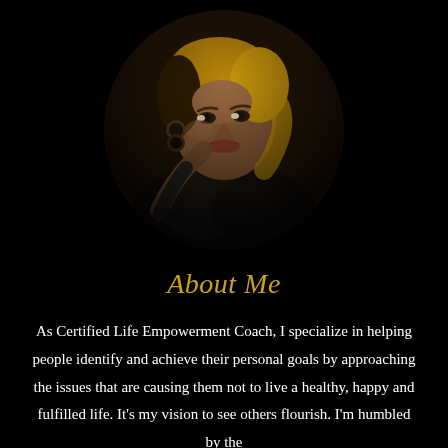[Figure (photo): Circular portrait photo of a woman with blonde hair, large hoop earrings, wearing a dark jacket, posed against a dark background.]
About Me
As Certified Life Empowerment Coach, I specialize in helping people identify and achieve their personal goals by approaching the issues that are causing them not to live a healthy, happy and fulfilled life. It's my vision to see others flourish. I'm humbled by the